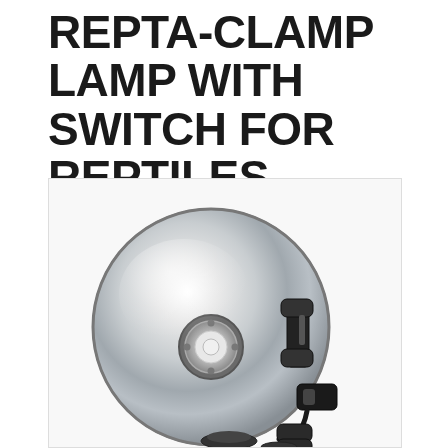REPTA-CLAMP LAMP WITH SWITCH FOR REPTILES
[Figure (photo): Product photo of a Repta-Clamp lamp with switch for reptiles. Shows a large circular silver/chrome dome reflector with a white E27 bulb socket in the center, and a black clamp mechanism with power cord and switch visible to the right side.]